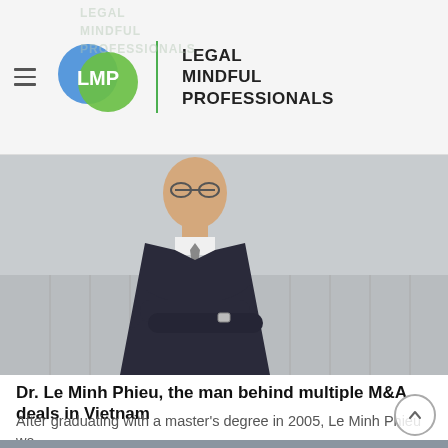LEGAL MINDFUL PROFESSIONALS
[Figure (photo): Professional man in dark suit with arms crossed, standing in front of a grey textured wall]
Dr. Le Minh Phieu, the man behind multiple M&A deals in Vietnam
After graduating with a master’s degree in 2005, Le Minh Phieu wa…
[Figure (photo): Blurred image of business professionals in lower portion of page]